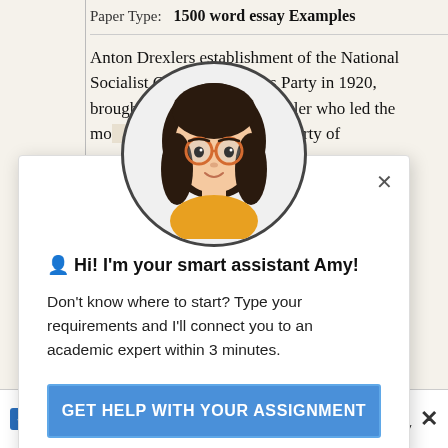Paper Type: 1500 word essay Examples
Anton Drexlers establishment of the National Socialist German Workers Party in 1920, brought [rise] of Adolf Hitler who led the mo[vement as] [a Ge]rman political party of [historians] is regarded [the State] or the sole means or derstood
[Figure (illustration): Cartoon avatar of a young woman with dark hair, orange glasses, and a yellow top, shown in a circle frame]
👤 Hi! I'm your smart assistant Amy!
Don't know where to start? Type your requirements and I'll connect you to an academic expert within 3 minutes.
GET HELP WITH YOUR ASSIGNMENT
[Figure (logo): TrustedSite Certified Secure badge]
itical Ar
Studymoose.com uses cookies. By continuing you agree to our cookie policy